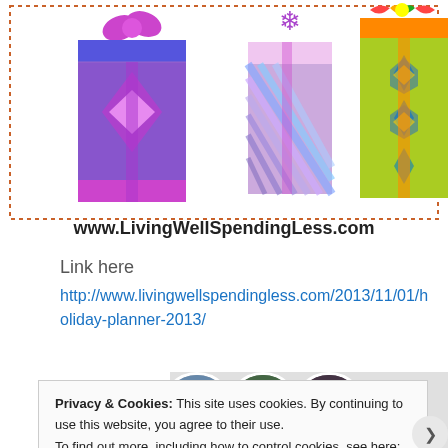[Figure (illustration): Colorful gift boxes with decorative patterns and a dotted border frame. Text 'www.LivingWellSpendingLess.com' below the gifts.]
Link here
http://www.livingwellspendingless.com/2013/11/01/holiday-planner-2013/
[Figure (photo): Three circular avatar photos of people and a blue plus button on a gray background.]
Privacy & Cookies: This site uses cookies. By continuing to use this website, you agree to their use.
To find out more, including how to control cookies, see here: Cookie Policy
Close and accept